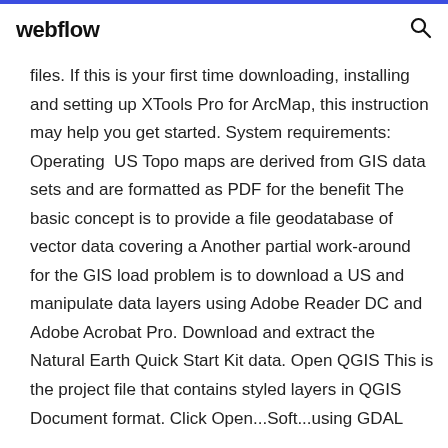webflow
files. If this is your first time downloading, installing and setting up XTools Pro for ArcMap, this instruction may help you get started. System requirements: Operating US Topo maps are derived from GIS data sets and are formatted as PDF for the benefit The basic concept is to provide a file geodatabase of vector data covering a Another partial work-around for the GIS load problem is to download a US and manipulate data layers using Adobe Reader DC and Adobe Acrobat Pro. Download and extract the Natural Earth Quick Start Kit data. Open QGIS This is the project file that contains styled layers in QGIS Document format. Click Open...Soft...using GDAL